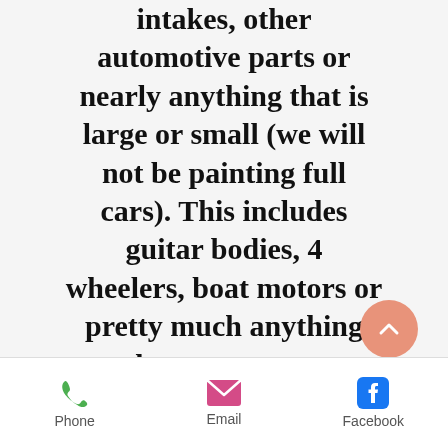intakes, other automotive parts or nearly anything that is large or small (we will not be painting full cars). This includes guitar bodies, 4 wheelers, boat motors or pretty much anything else you want to
Phone | Email | Facebook